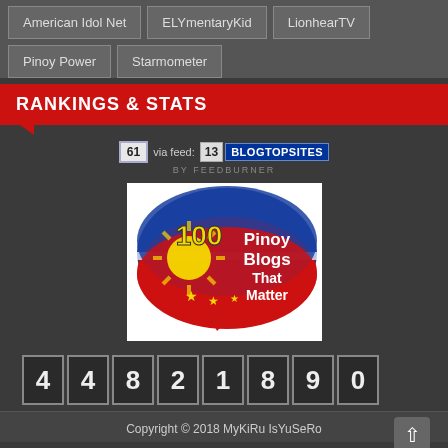American Idol Net
ELYmentaryKid
LionhearTV
Pinoy Power
Starmometer
RANKINGS & STATS
61 via feed: 13 BLOGTOPSITES BY FEEDBURNER
[Figure (logo): 100 Pinoy Blogs That Matter badge logo with Philippine flag colors (blue, red, white), yellow sunburst, stars, and bold white text reading '100 Pinoy Blogs That Matter']
44821890
Copyright © 2018 MyKiRu IsYuSeRo